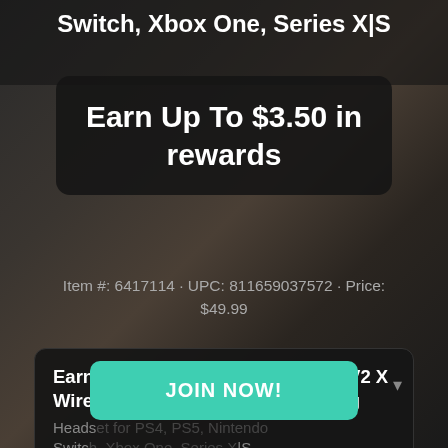Switch, Xbox One, Series X|S
Earn Up To $3.50 in rewards
Item #: 6417114 · UPC: 811659037572 · Price: $49.99
Earn Rewards on the BlackShark V2 X Wired 7.1 Surround Sound Gaming Headset for PS4, PS5, Nintendo Switch, Xbox One, Series X|S from Razer
JOIN NOW!